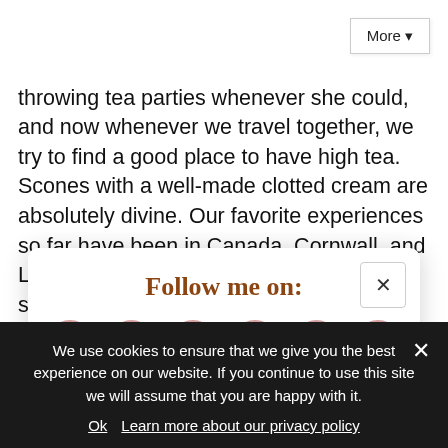throwing tea parties whenever she could, and now whenever we travel together, we try to find a good place to have high tea. Scones with a well-made clotted cream are absolutely divine. Our favorite experiences so far have been in Canada, Cornwall, and Lanai (Hawaii). She'll be so excited when I show her this list! Everything looks so delicious, I didn't
Follow me on:
[Figure (infographic): Six social media icon circles in pinkish outline: Facebook (f), Instagram, Pinterest, Twitter (bird), Bloglovin (B), RSS feed]
Or sign up to my newsletter
We use cookies to ensure that we give you the best experience on our website. If you continue to use this site we will assume that you are happy with it.
Ok   Learn more about our privacy policy